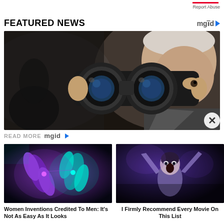Report Abuse
FEATURED NEWS
[Figure (photo): A man looking through binoculars, side profile, dark background]
READ MORE mgid
[Figure (photo): Glowing purple and teal chromosome or DNA strand illustration on dark background]
Women Inventions Credited To Men: It's Not As Easy As It Looks
[Figure (photo): A person in dramatic horror movie scene, purple tinted lighting]
I Firmly Recommend Every Movie On This List